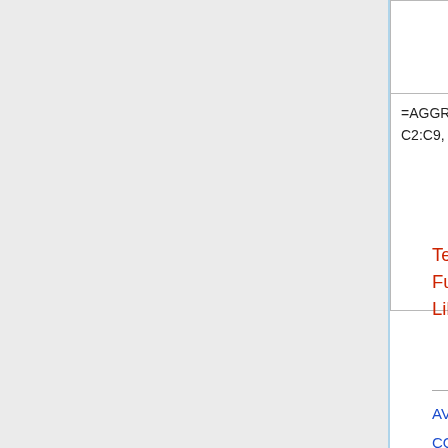| Formula | Description |
| --- | --- |
|  | values in ColumnN... nothing (Option se... |
| =AGGREGATE(15; 4; C2:C9, 3) | Here the function r... smallest (Function... the cell range C2:C... (Option set to 4). |
Template:Documentation/Calc Functions/Related LibreOffice functions/de
AVERAGE
COUNT
COUNTA
LARGE
MAX
MEDIAN
MIN